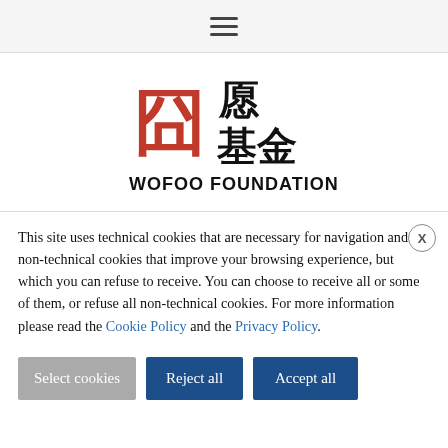≡ (hamburger menu)
[Figure (logo): Wofoo Foundation logo with Chinese characters (红 基金) in red/black and English text WOFOO FOUNDATION in bold black]
This site uses technical cookies that are necessary for navigation and non-technical cookies that improve your browsing experience, but which you can refuse to receive. You can choose to receive all or some of them, or refuse all non-technical cookies. For more information please read the Cookie Policy and the Privacy Policy.
Select cookies
Reject all
Accept all